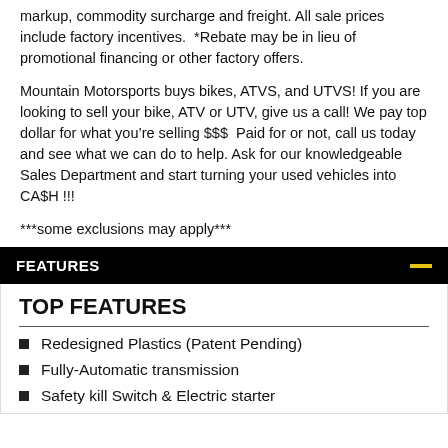markup, commodity surcharge and freight. All sale prices include factory incentives.  *Rebate may be in lieu of promotional financing or other factory offers.
Mountain Motorsports buys bikes, ATVS, and UTVS! If you are looking to sell your bike, ATV or UTV, give us a call! We pay top dollar for what you’re selling $$$  Paid for or not, call us today and see what we can do to help. Ask for our knowledgeable Sales Department and start turning your used vehicles into CA$H !!!
***some exclusions may apply***
FEATURES
TOP FEATURES
Redesigned Plastics (Patent Pending)
Fully-Automatic transmission
Safety kill Switch & Electric starter